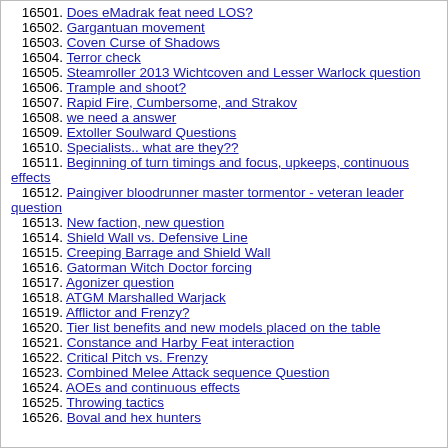16501. Does eMadrak feat need LOS?
16502. Gargantuan movement
16503. Coven Curse of Shadows
16504. Terror check
16505. Steamroller 2013 Wichtcoven and Lesser Warlock question
16506. Trample and shoot?
16507. Rapid Fire, Cumbersome, and Strakov
16508. we need a answer
16509. Extoller Soulward Questions
16510. Specialists.. what are they??
16511. Beginning of turn timings and focus, upkeeps, continuous effects
16512. Paingiver bloodrunner master tormentor - veteran leader question
16513. New faction, new question
16514. Shield Wall vs. Defensive Line
16515. Creeping Barrage and Shield Wall
16516. Gatorman Witch Doctor forcing
16517. Agonizer question
16518. ATGM Marshalled Warjack
16519. Afflictor and Frenzy?
16520. Tier list benefits and new models placed on the table
16521. Constance and Harby Feat interaction
16522. Critical Pitch vs. Frenzy
16523. Combined Melee Attack sequence Question
16524. AOEs and continuous effects
16525. Throwing tactics
16526. Boval and hex hunters